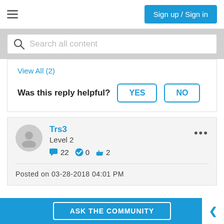Sign up / Sign in
Search all content
View All (2)
Was this reply helpful? YES NO
Trs3
Level 2
22  0  2
Posted on 03-28-2018 04:01 PM
ASK THE COMMUNITY